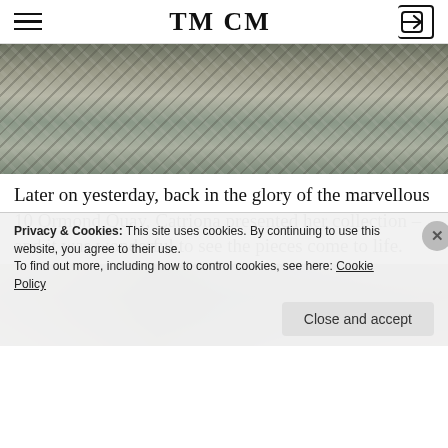TM CM
[Figure (photo): Close-up photo of knitted/woven textile fabrics in grey and silver tones hanging together]
Later on yesterday, back in the glory of the marvellous 10 Ormond Quay, Catriona presented her collection – and it was wonderful to see the pieces come to life.
[Figure (photo): Photo of dark fabric/clothing pieces with a blurred background]
Privacy & Cookies: This site uses cookies. By continuing to use this website, you agree to their use.
To find out more, including how to control cookies, see here: Cookie Policy
Close and accept